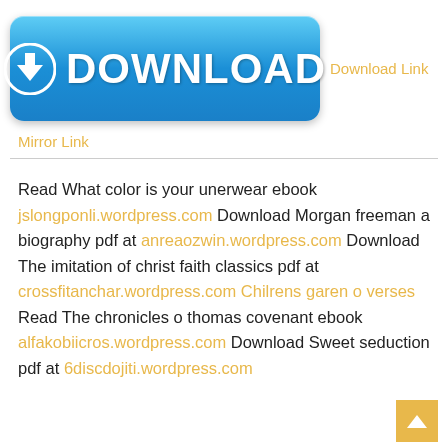[Figure (other): Blue download button with down-arrow circle icon and DOWNLOAD text in white]
Download Link
Mirror Link
Read What color is your unerwear ebook jslongponli.wordpress.com Download Morgan freeman a biography pdf at anreaozwin.wordpress.com Download The imitation of christ faith classics pdf at crossfitanchar.wordpress.com Chilrens garen o verses Read The chronicles o thomas covenant ebook alfakobiicros.wordpress.com Download Sweet seduction pdf at 6discdojiti.wordpress.com